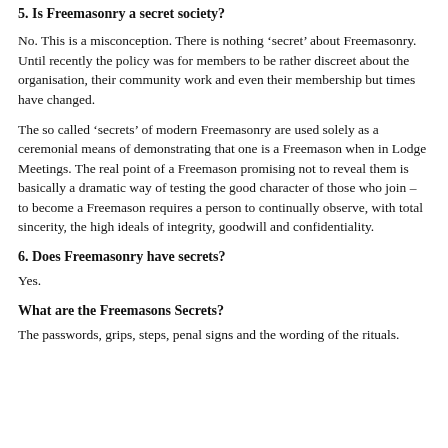5. Is Freemasonry a secret society?
No. This is a misconception. There is nothing ‘secret’ about Freemasonry. Until recently the policy was for members to be rather discreet about the organisation, their community work and even their membership but times have changed.
The so called ‘secrets’ of modern Freemasonry are used solely as a ceremonial means of demonstrating that one is a Freemason when in Lodge Meetings. The real point of a Freemason promising not to reveal them is basically a dramatic way of testing the good character of those who join – to become a Freemason requires a person to continually observe, with total sincerity, the high ideals of integrity, goodwill and confidentiality.
6. Does Freemasonry have secrets?
Yes.
What are the Freemasons Secrets?
The passwords, grips, steps, penal signs and the wording of the rituals.